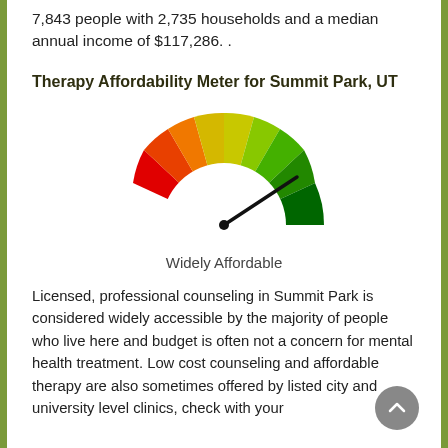7,843 people with 2,735 households and a median annual income of $117,286. .
Therapy Affordability Meter for Summit Park, UT
[Figure (other): Gauge/speedometer meter showing affordability rating, needle pointing to the green (right) section indicating 'Widely Affordable'. Gauge spans red on left through orange, yellow, to green on right.]
Widely Affordable
Licensed, professional counseling in Summit Park is considered widely accessible by the majority of people who live here and budget is often not a concern for mental health treatment. Low cost counseling and affordable therapy are also sometimes offered by listed city and university level clinics, check with your